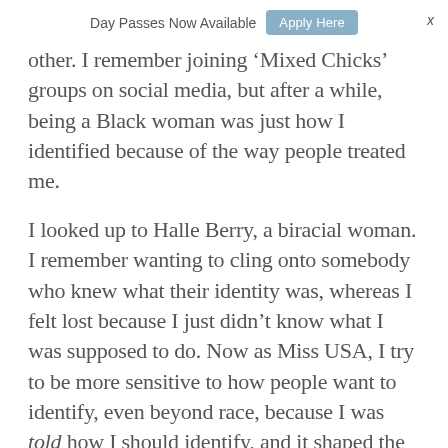Day Passes Now Available   Apply Here   x
other. I remember joining ‘Mixed Chicks’ groups on social media, but after a while, being a Black woman was just how I identified because of the way people treated me.
I looked up to Halle Berry, a biracial woman. I remember wanting to cling onto somebody who knew what their identity was, whereas I felt lost because I just didn’t know what I was supposed to do. Now as Miss USA, I try to be more sensitive to how people want to identify, even beyond race, because I was told how I should identify, and it shaped the way I saw myself. I want people to be able to define that for themselves.”